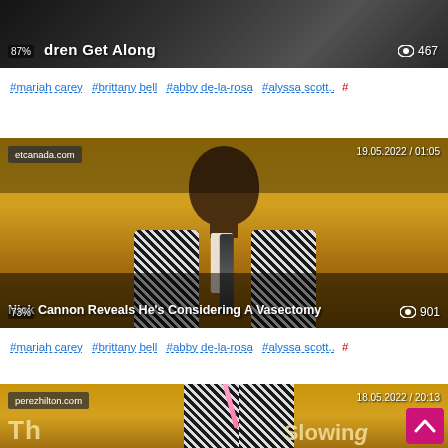[Figure (screenshot): Video thumbnail showing dark/blurred background with title text and view count overlay. Title: 'children Get Along', views: 467, percentage: 87%]
#mariah carey  #brittany bell  #abby de-la-rosa  #alyssa scott..  #
[Figure (screenshot): Video thumbnail from etcanada.com dated 19.05.2022 / 01:05 showing a man in houndstooth jacket. Title: 'Nick Cannon Reveals He's Considering A Vasectomy', views: 901, percentage: 73%]
#mariah carey  #brittany bell  #abby de-la-rosa  #alyssa scott..  #
[Figure (screenshot): Video thumbnail from perezhilton.com dated 18.05.2022 / 20:13 showing a man in houndstooth jacket. Partial title text visible. Scroll-to-top button visible.]